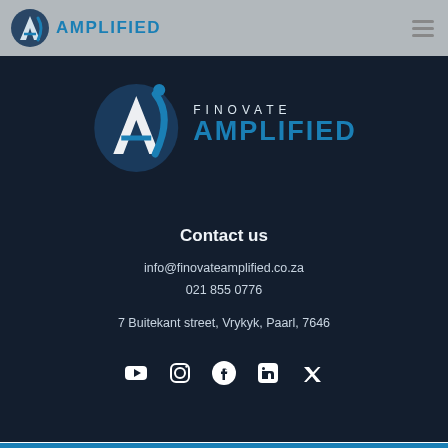AMPLIFIED
[Figure (logo): Finovate Amplified logo — circular shield icon with stylized 'A' in dark blue and cyan, followed by text 'FINOVATE AMPLIFIED']
Contact us
info@finovateamplified.co.za
021 855 0776
7 Buitekant street, Vrykyk, Paarl, 7646
[Figure (other): Row of social media icons: YouTube, Instagram, Facebook, LinkedIn, Twitter]